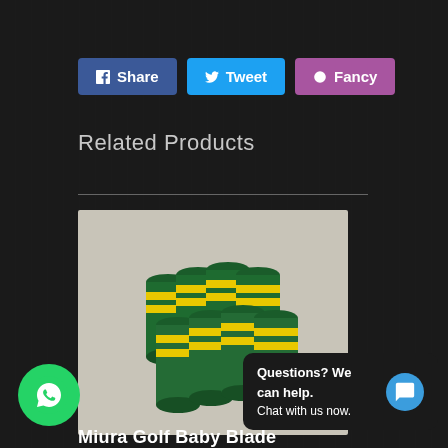[Figure (other): Social sharing buttons: Share (Facebook, blue), Tweet (Twitter, light blue), Fancy (red/dark)]
Related Products
[Figure (photo): Photo of green and yellow striped golf iron ferrules/sleeves stacked on a gray surface]
[Figure (other): WhatsApp contact button (green circle with phone icon) at bottom left]
[Figure (other): Chat widget: 'Questions? We can help. Chat with us now.' with blue chat bubble icon]
Miura Golf Baby Blade